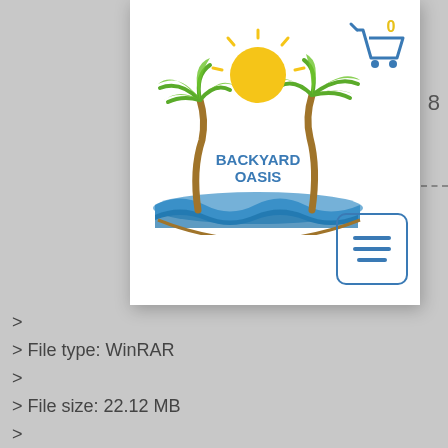[Figure (logo): Backyard Oasis logo with palm trees, sun, and ocean waves, with shopping cart icon and hamburger menu button]
>
> File type: WinRAR
>
> File size: 22.12 MB
>
> File type: WinRAR
>
>
DESCRIPTION:
Support the application specially for those ImTOO Blu Ray Ripper is a powerful and easy-to-use Blu-ray converter. It enables you to convert videos from your Blu-ray disk to other video formats, including AVI, MP4, FLV, ...